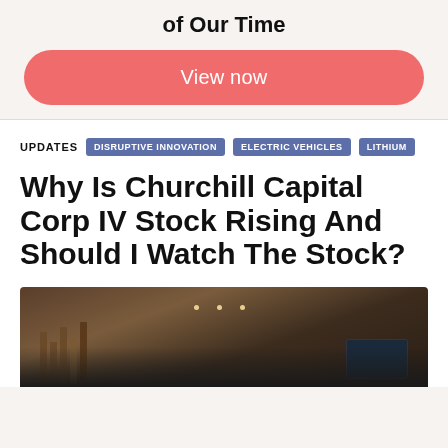of Our Time
View now
UPDATES  DISRUPTIVE INNOVATION  ELECTRIC VEHICLES  LITHIUM
Why Is Churchill Capital Corp IV Stock Rising And Should I Watch The Stock?
[Figure (photo): Interior of a modern corporate lobby or showroom with wooden ceiling, recessed lighting, and a display screen on the right side.]